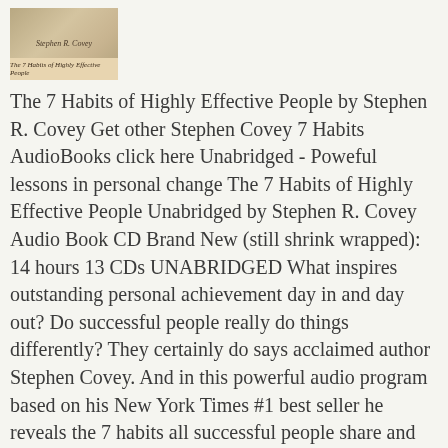[Figure (photo): Book cover image of The 7 Habits of Highly Effective People by Stephen R. Covey]
The 7 Habits of Highly Effective People by Stephen R. Covey Get other Stephen Covey 7 Habits AudioBooks click here Unabridged - Poweful lessons in personal change The 7 Habits of Highly Effective People Unabridged by Stephen R. Covey Audio Book CD Brand New (still shrink wrapped): 14 hours 13 CDs UNABRIDGED What inspires outstanding personal achievement day in and day out? Do successful people really do things differently? They certainly do says acclaimed author Stephen Covey. And in this powerful audio program based on his New York Times #1 best seller he reveals the 7 habits all successful people share and shows you how to make them a part of your everyday life. Learn the timeless value of